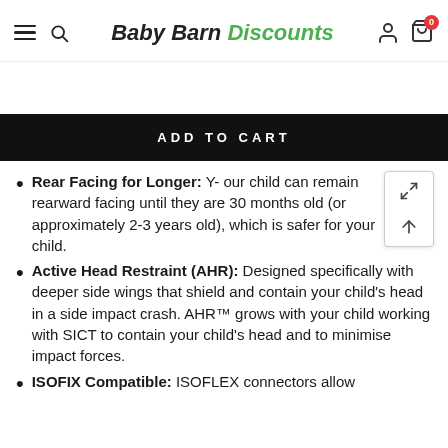Baby Barn Discounts
ADD TO CART
Rear Facing for Longer: Y- our child can remain rearward facing until they are 30 months old (or approximately 2-3 years old), which is safer for your child.
Active Head Restraint (AHR): Designed specifically with deeper side wings that shield and contain your child's head in a side impact crash. AHR™ grows with your child working with SICT to contain your child's head and to minimise impact forces.
ISOFIX Compatible: ISOFLEX connectors allow